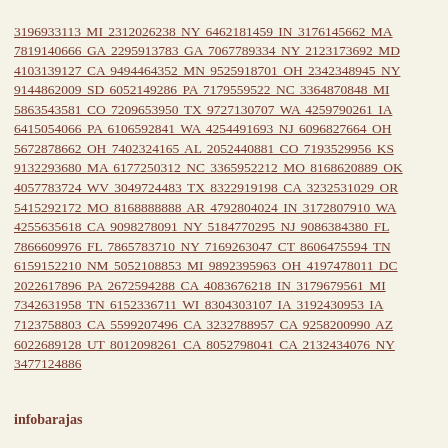3196933113 MI 2312026238 NY 6462181459 IN 3176145662 MA 7819140666 GA 2295913783 GA 7067789334 NY 2123173692 MD 4103139127 CA 9494464352 MN 9525918701 OH 2342348945 NY 9144862009 SD 6052149286 PA 7179559522 NC 3364870848 MI 5863543581 CO 7209653950 TX 9727130707 WA 4259790261 IA 6415054066 PA 6106592841 WA 4254491693 NJ 6096827664 OH 5672878662 OH 7402324165 AL 2052440881 CO 7193529956 KS 9132293680 MA 6177250312 NC 3365952212 MO 8168620889 OK 4057783724 WV 3049724483 TX 8322919198 CA 3232531029 OR 5415292172 MO 8168888888 AR 4792804024 IN 3172807910 WA 4255635618 CA 9098278091 NY 5184770295 NJ 9086384380 FL 7866609976 FL 7865783710 NY 7169263047 CT 8606475594 TN 6159152210 NM 5052108853 MI 9892395963 OH 4197478011 DC 2022617896 PA 2672594288 CA 4083676218 IN 3179679561 MI 7342631958 TN 6152336711 WI 8304303107 IA 3192430953 IA 7123758803 CA 5599207496 CA 3232788957 CA 9258200990 AZ 6022689128 UT 8012098261 CA 8052798041 CA 2132434076 NY 3477124886
infobarajas